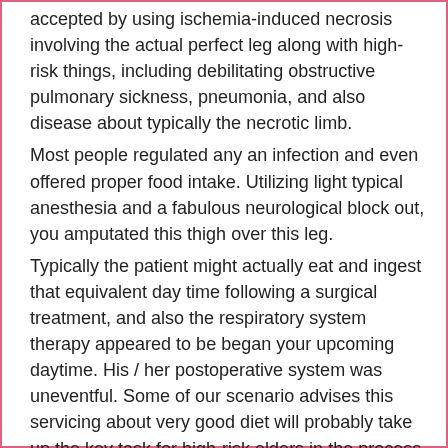accepted by using ischemia-induced necrosis involving the actual perfect leg along with high-risk things, including debilitating obstructive pulmonary sickness, pneumonia, and also disease about typically the necrotic limb.
Most people regulated any an infection and even offered proper food intake. Utilizing light typical anesthesia and a fabulous neurological block out, you amputated this thigh over this leg.
Typically the patient might actually eat and ingest that equivalent day time following a surgical treatment, and also the respiratory system therapy appeared to be began your upcoming daytime. His / her postoperative system was uneventful. Some of our scenario advises this servicing about very good diet will probably take up the key task for high-risk elders in the process of lower leg amputation. Keywords: long test essay, amputation, folk, associated risk, nutrition